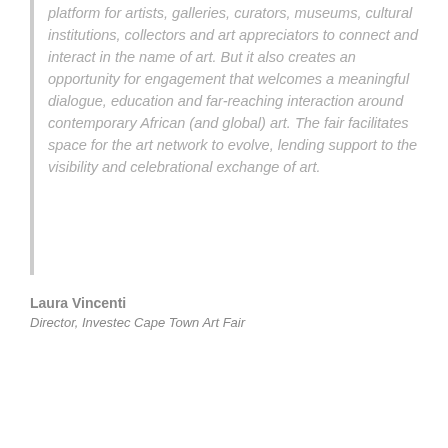platform for artists, galleries, curators, museums, cultural institutions, collectors and art appreciators to connect and interact in the name of art. But it also creates an opportunity for engagement that welcomes a meaningful dialogue, education and far-reaching interaction around contemporary African (and global) art. The fair facilitates space for the art network to evolve, lending support to the visibility and celebrational exchange of art.
Laura Vincenti
Director, Investec Cape Town Art Fair